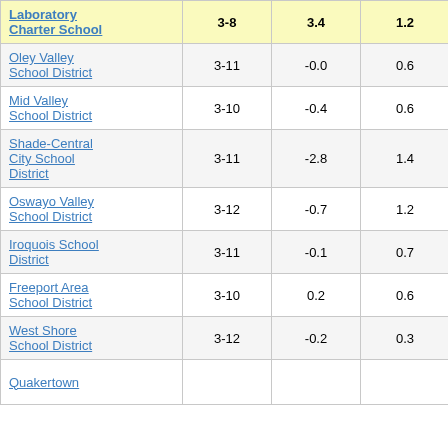| School/District | Grades | Col3 | Col4 | Score |
| --- | --- | --- | --- | --- |
| Laboratory Charter School | 3-8 | 3.4 | 1.2 | 2.86 |
| Oley Valley School District | 3-11 | -0.0 | 0.6 | -0.04 |
| Mid Valley School District | 3-10 | -0.4 | 0.6 | -0.79 |
| Shade-Central City School District | 3-11 | -2.8 | 1.4 | -1.99 |
| Oswayo Valley School District | 3-12 | -0.7 | 1.2 | -0.62 |
| Iroquois School District | 3-11 | -0.1 | 0.7 | -0.21 |
| Freeport Area School District | 3-10 | 0.2 | 0.6 | 0.30 |
| West Shore School District | 3-12 | -0.2 | 0.3 | -0.59 |
| Quakertown |  |  |  |  |